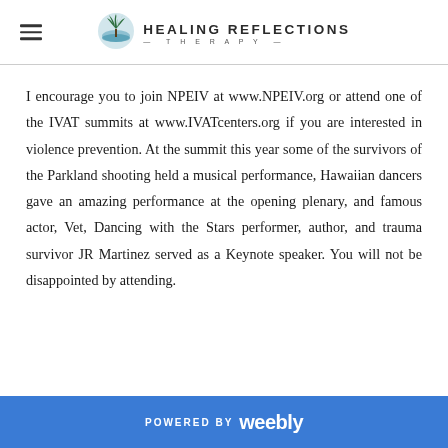Healing Reflections Therapy
I encourage you to join NPEIV at www.NPEIV.org or attend one of the IVAT summits at www.IVATcenters.org if you are interested in violence prevention. At the summit this year some of the survivors of the Parkland shooting held a musical performance, Hawaiian dancers gave an amazing performance at the opening plenary, and famous actor, Vet, Dancing with the Stars performer, author, and trauma survivor JR Martinez served as a Keynote speaker. You will not be disappointed by attending.
POWERED BY weebly